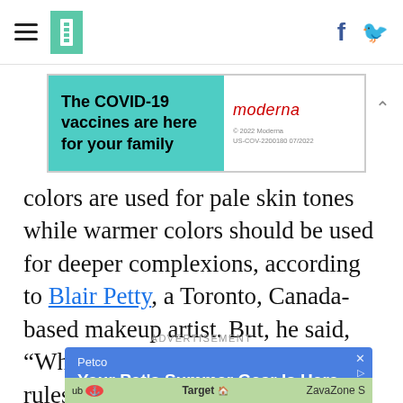HuffPost navigation header with hamburger menu, logo, Facebook and Twitter icons
[Figure (screenshot): Moderna COVID-19 vaccine advertisement banner: 'The COVID-19 vaccines are here for your family' on teal background, Moderna logo on white right side]
colors are used for pale skin tones while warmer colors should be used for deeper complexions, according to Blair Petty, a Toronto, Canada-based makeup artist. But, he said, “Why give yourself a bunch of rules?”
ADVERTISEMENT
[Figure (screenshot): Petco advertisement: 'Your Pet's Summer Gear Is Here - Take your pet's summer to the next level with Petco.' on blue background, with map strip showing Target and ZavaZone S below]